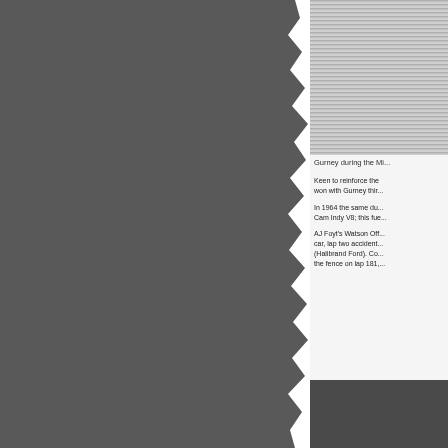[Figure (photo): Partial view of a dark grey torn-paper or textured surface filling the left portion of the page]
[Figure (photo): Top-right photo showing a grey/silver horizontal streaked surface, partially cropped]
Gurney during the Mi...
Keen to reinforce the... won with Gurney thir...
In 1964 the same du... Cam Indy V8; this fue...
AJ Foyt's Watson Off... car, lap two accident... (Halibrand Ford). Co... the fence on lap 181,...
[Figure (photo): Bottom-right photo showing a dark scene with partial figures, cropped at page bottom]